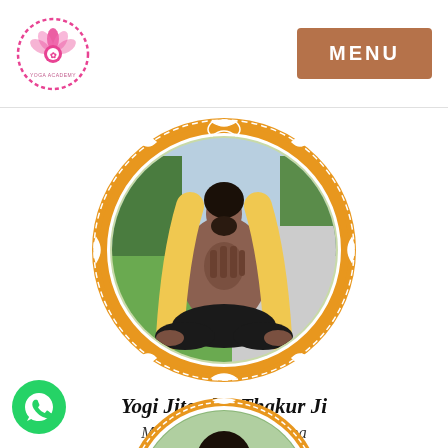[Figure (logo): Yoga academy logo - lotus flower with pink circular border]
MENU
[Figure (photo): A yogi man sitting in lotus meditation pose with hands in namaste, wearing yellow shawl, circular photo with decorative orange and white border]
Yogi Jitender Thakur Ji
Meditation & Pranayama
[Figure (photo): WhatsApp green phone icon]
[Figure (photo): Second person's circular profile photo with decorative orange border, partially visible at bottom]